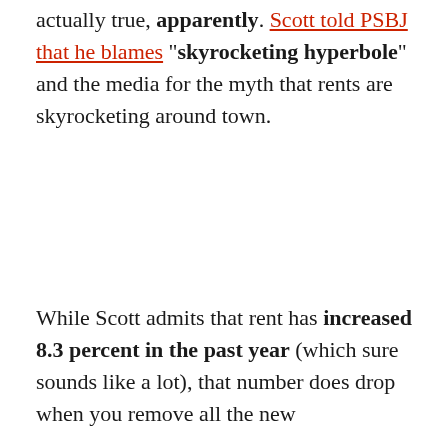actually true, apparently. Scott told PSBJ that he blames "skyrocketing hyperbole" and the media for the myth that rents are skyrocketing around town.
While Scott admits that rent has increased 8.3 percent in the past year (which sure sounds like a lot), that number does drop when you remove all the new